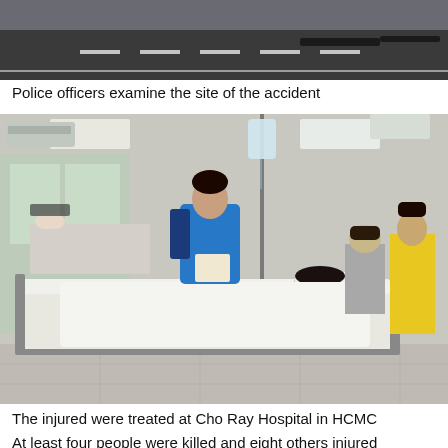[Figure (photo): Top portion of a road accident scene photo showing a dark road surface and road markings]
Police officers examine the site of the accident
[Figure (photo): Hospital ward scene at Cho Ray Hospital in HCMC showing injured patients on stretchers and beds, with a nurse or aide in a blue shirt attending to a patient with head bandaging in the foreground, IV drip visible, other patients and visitors in the background]
The injured were treated at Cho Ray Hospital in HCMC
At least four people were killed and eight others injured